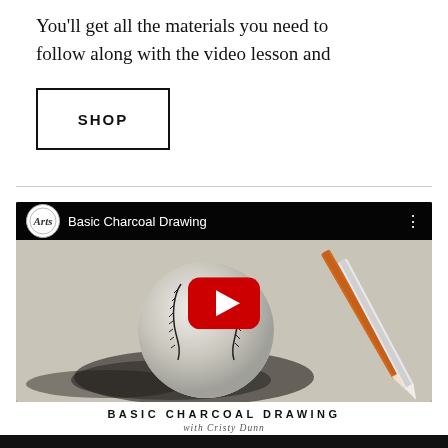You'll get all the materials you need to follow along with the video lesson and
SHOP
[Figure (screenshot): YouTube video embed showing 'Basic Charcoal Drawing' with a charcoal drawing of a baseball as thumbnail, red YouTube play button in center, channel logo (Arts circle badge) in top-left of player bar, three-dot menu icon top-right]
BASIC CHARCOAL DRAWING
with Cristy Dunn